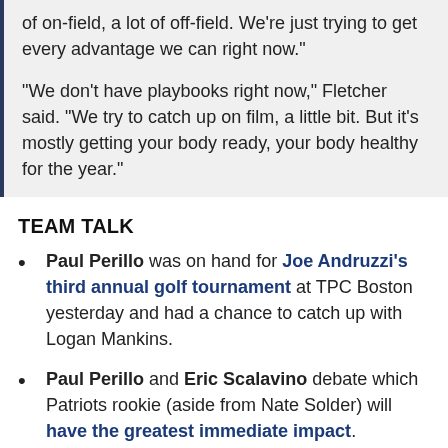of on-field, a lot of off-field. We're just trying to get every advantage we can right now."
"We don't have playbooks right now," Fletcher said. "We try to catch up on film, a little bit. But it's mostly getting your body ready, your body healthy for the year."
TEAM TALK
Paul Perillo was on hand for Joe Andruzzi's third annual golf tournament at TPC Boston yesterday and had a chance to catch up with Logan Mankins.
Paul Perillo and Eric Scalavino debate which Patriots rookie (aside from Nate Solder) will have the greatest immediate impact.
Patriots Today - Andruzzi, Pats golf for a cause